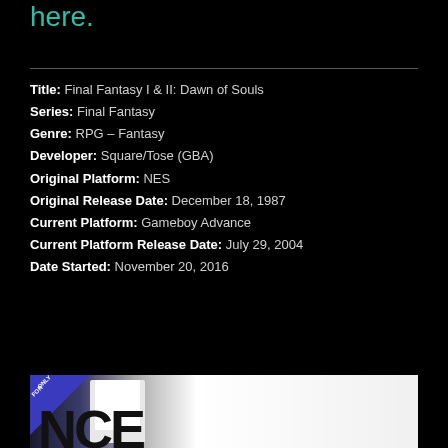here.
Title: Final Fantasy I & II: Dawn of Souls
Series: Final Fantasy
Genre: RPG – Fantasy
Developer: Square/Tose (GBA)
Original Platform: NES
Original Release Date: December 18, 1987
Current Platform: Gameboy Advance
Current Platform Release Date: July 29, 2004
Date Started: November 20, 2016
[Figure (photo): Game cartridge box art for a Gameboy Advance game, showing the corner 'Only For' GBA badge in blue, and partial text reading 'NCE' in large black letters on a white/grey background.]